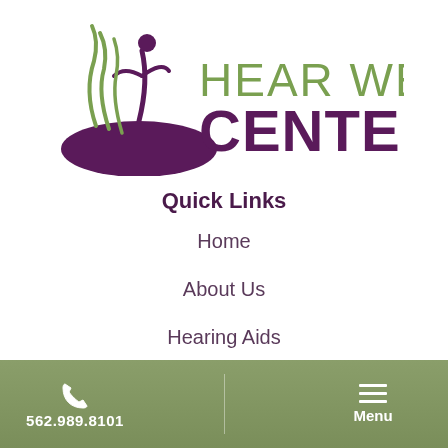[Figure (logo): Hear Well Center logo with green stylized human figure with flowing lines above a purple hill/mountain shape, and text 'HEAR WELL CENTER' to the right in green and purple]
Quick Links
Home
About Us
Hearing Aids
Hearing Loss
Balance
Tinnitus
562.989.8101   Menu